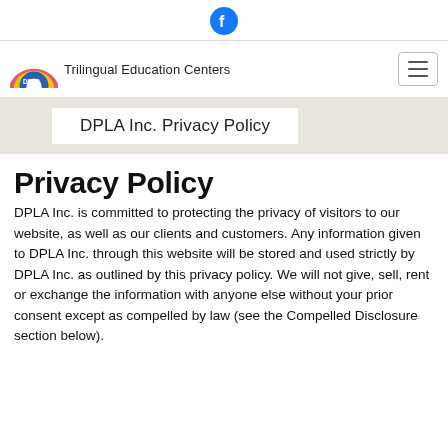[Figure (logo): Facebook icon — circular blue button with white 'f' letter]
[Figure (logo): DPLA Trilingual Education Centers rainbow logo with text 'DPLA Trilingual Education Centers' and hamburger menu icon]
DPLA Inc. Privacy Policy
Privacy Policy
DPLA Inc. is committed to protecting the privacy of visitors to our website, as well as our clients and customers. Any information given to DPLA Inc. through this website will be stored and used strictly by DPLA Inc. as outlined by this privacy policy. We will not give, sell, rent or exchange the information with anyone else without your prior consent except as compelled by law (see the Compelled Disclosure section below).